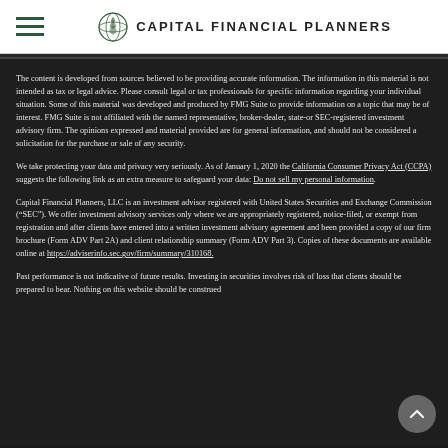CAPITAL FINANCIAL PLANNERS
The content is developed from sources believed to be providing accurate information. The information in this material is not intended as tax or legal advice. Please consult legal or tax professionals for specific information regarding your individual situation. Some of this material was developed and produced by FMG Suite to provide information on a topic that may be of interest. FMG Suite is not affiliated with the named representative, broker-dealer, state-or SEC-registered investment advisory firm. The opinions expressed and material provided are for general information, and should not be considered a solicitation for the purchase or sale of any security.
We take protecting your data and privacy very seriously. As of January 1, 2020 the California Consumer Privacy Act (CCPA) suggests the following link as an extra measure to safeguard your data: Do not sell my personal information.
Capital Financial Planners, LLC is an investment advisor registered with United States Securities and Exchange Commission (“SEC”). We offer investment advisory services only where we are appropriately registered, notice-filed, or exempt from registration and after clients have entered into a written investment advisory agreement and been provided a copy of our firm brochure (Form ADV Part 2A) and client relationship summary (Form ADV Part 3). Copies of these documents are available online at https://adviserinfo.sec.gov/firm/summary/310168.
Past performance is not indicative of future results. Investing in securities involves risk of loss that clients should be prepared to bear. Nothing on this website should be construed